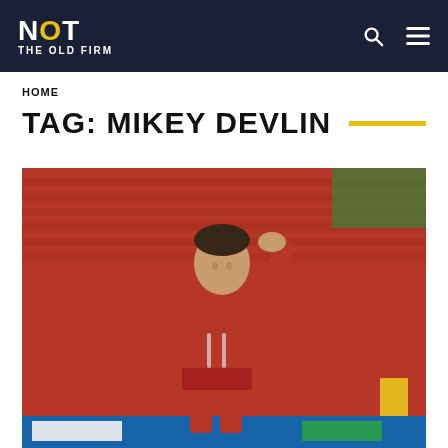NOT THE OLD FIRM
HOME
TAG: MIKEY DEVLIN
[Figure (photo): A footballer wearing a red Aberdeen FC kit with hand on head, looking downward in a dejected pose, standing on the pitch with red stadium seats visible in the background]